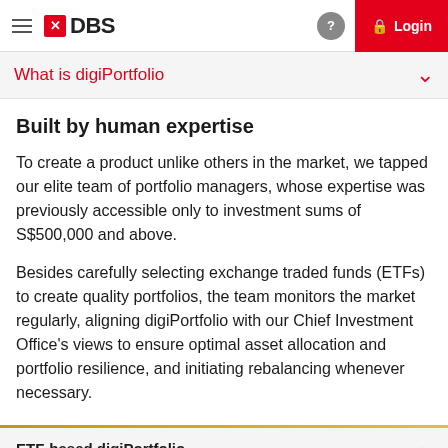DBS | Login
What is digiPortfolio
Built by human expertise
To create a product unlike others in the market, we tapped our elite team of portfolio managers, whose expertise was previously accessible only to investment sums of S$500,000 and above.
Besides carefully selecting exchange traded funds (ETFs) to create quality portfolios, the team monitors the market regularly, aligning digiPortfolio with our Chief Investment Office's views to ensure optimal asset allocation and portfolio resilience, and initiating rebalancing whenever necessary.
ETF-based digiPortfolio
digiPortfolio Q2 2022 Performance